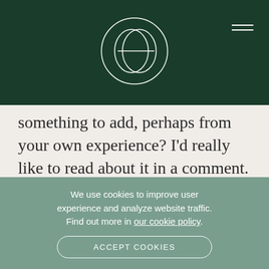[Figure (logo): Circular logo with stylized 'e' or overlapping circles in white outline on dark green background]
something to add, perhaps from your own experience? I'd really like to read about it in a comment.
We use cookies to improve user experience and analyze website traffic. Find out more in our cookie policy.
ACCEPT COOKIES